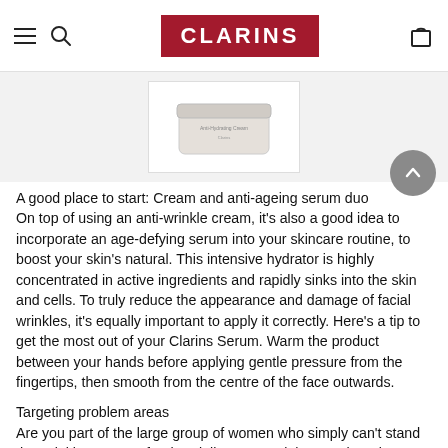CLARINS
[Figure (photo): Partial view of a Clarins cream product in a white jar/container, shown from above on a white/light grey background.]
A good place to start: Cream and anti-ageing serum duo
On top of using an anti-wrinkle cream, it's also a good idea to incorporate an age-defying serum into your skincare routine, to boost your skin's natural. This intensive hydrator is highly concentrated in active ingredients and rapidly sinks into the skin and cells. To truly reduce the appearance and damage of facial wrinkles, it's equally important to apply it correctly. Here's a tip to get the most out of your Clarins Serum. Warm the product between your hands before applying gentle pressure from the fingertips, then smooth from the centre of the face outwards.
Targeting problem areas
Are you part of the large group of women who simply can't stand the wrinkles on your forehead, lines around the mouth and wrinkles on the neck that enhance ageing year after year?